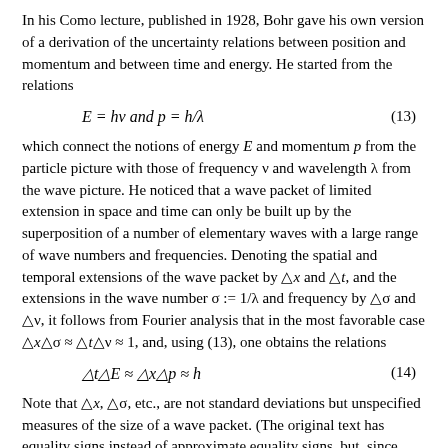In his Como lecture, published in 1928, Bohr gave his own version of a derivation of the uncertainty relations between position and momentum and between time and energy. He started from the relations
which connect the notions of energy E and momentum p from the particle picture with those of frequency ν and wavelength λ from the wave picture. He noticed that a wave packet of limited extension in space and time can only be built up by the superposition of a number of elementary waves with a large range of wave numbers and frequencies. Denoting the spatial and temporal extensions of the wave packet by △x and △t, and the extensions in the wave number σ := 1/λ and frequency by △σ and △ν, it follows from Fourier analysis that in the most favorable case △x△σ ≈ △t△ν ≈ 1, and, using (13), one obtains the relations
Note that △x, △σ, etc., are not standard deviations but unspecified measures of the size of a wave packet. (The original text has equality signs instead of approximate equality signs, but, since Bohr does not define the spreads exactly the use of approximate equality signs is more appropriate.)